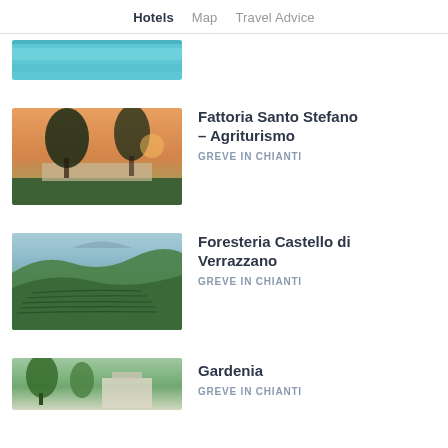Hotels   Map   Travel Advice
[Figure (photo): Partial crop of swimming pool image at top]
[Figure (photo): Sunset landscape with trees and stone terrace - Fattoria Santo Stefano Agriturismo]
Fattoria Santo Stefano – Agriturismo
GREVE IN CHIANTI
[Figure (photo): Aerial view of rolling hills and terraced vineyards - Foresteria Castello di Verrazzano]
Foresteria Castello di Verrazzano
GREVE IN CHIANTI
[Figure (photo): Partial image of forested area with building - Gardenia]
Gardenia
GREVE IN CHIANTI